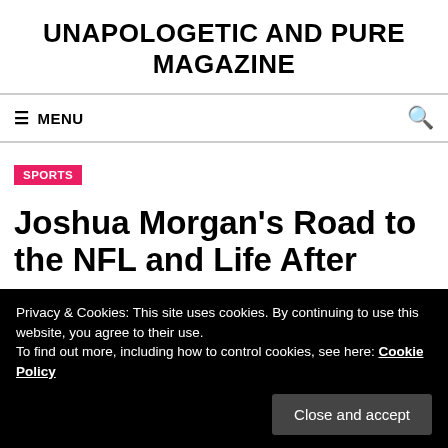UNAPOLOGETIC AND PURE MAGAZINE
≡ MENU
SPORTS
Joshua Morgan's Road to the NFL and Life After
Privacy & Cookies: This site uses cookies. By continuing to use this website, you agree to their use.
To find out more, including how to control cookies, see here: Cookie Policy
Close and accept
own, was when he attended college. Morgan's whole